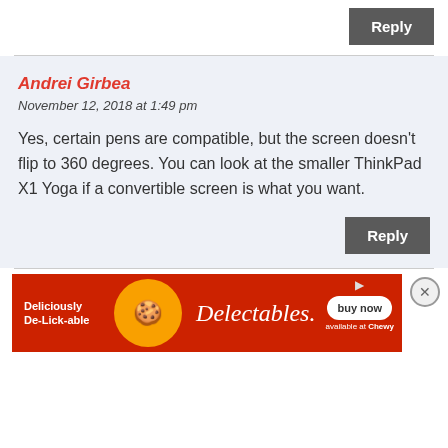Reply
Andrei Girbea
November 12, 2018 at 1:49 pm
Yes, certain pens are compatible, but the screen doesn't flip to 360 degrees. You can look at the smaller ThinkPad X1 Yoga if a convertible screen is what you want.
Reply
Karim
November...
Hey A...